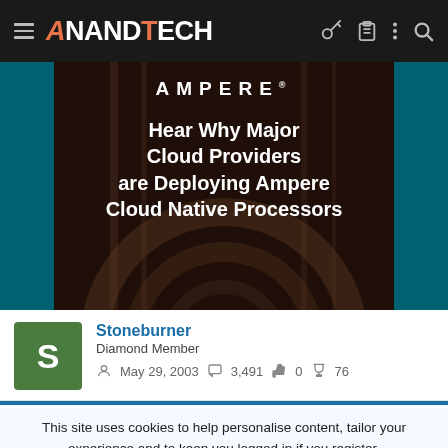AnandTech navigation bar with logo, menu, key, clipboard, more, and search icons
[Figure (photo): Ampere advertisement banner: 'Hear Why Major Cloud Providers are Deploying Ampere Cloud Native Processors' on dark background with server/hardware bokeh]
Stoneburner
Diamond Member
May 29, 2003  3,491  0  76
This site uses cookies to help personalise content, tailor your experience and to keep you logged in if you register.
By continuing to use this site, you are consenting to our use of cookies.